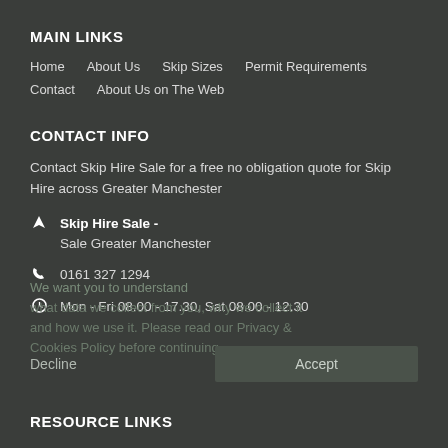MAIN LINKS
Home
About Us
Skip Sizes
Permit Requirements
Contact
About Us on The Web
CONTACT INFO
Contact Skip Hire Sale for a free no obligation quote for Skip Hire across Greater Manchester
Skip Hire Sale -
Sale Greater Manchester
0161 327 1294
Mon - Fri 08.00 - 17.30, Sat 08.00 - 12.30
RESOURCE LINKS